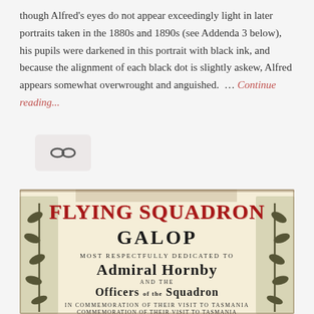though Alfred's eyes do not appear exceedingly light in later portraits taken in the 1880s and 1890s (see Addenda 3 below), his pupils were darkened in this portrait with black ink, and because the alignment of each black dot is slightly askew, Alfred appears somewhat overwrought and anguished. … Continue reading...
[Figure (other): A link/chain icon (infinity or chain symbol) on a light pinkish-gray background]
[Figure (photo): Vintage decorative title page of 'Flying Squadron Galop' with ornate Victorian typography in red and black, dedicated to Admiral Hornby and the Officers of the Squadron, in commemoration of their visit to Tasmania]